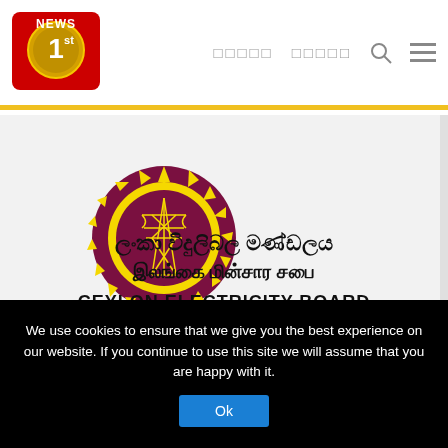[Figure (logo): News 1st red logo with gold circle and '1st' text]
ශ්‍රී NEWS 1st navigation header with Sinhala and Tamil text nav items, search and menu icons
[Figure (logo): Ceylon Electricity Board logo - circular emblem with dark red/maroon background, yellow sun gear and electricity pylon, with Sinhala text 'ලංකා විදුලිබල මණ්ඩලය', Tamil text 'இலங்கை மின்சார சபை', and English text 'CEYLON ELECTRICITY BOARD']
We use cookies to ensure that we give you the best experience on our website. If you continue to use this site we will assume that you are happy with it.